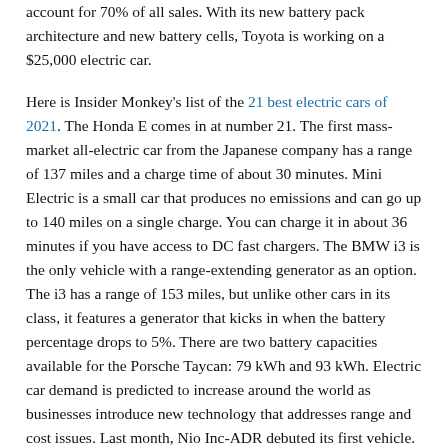account for 70% of all sales. With its new battery pack architecture and new battery cells, Toyota is working on a $25,000 electric car.
Here is Insider Monkey's list of the 21 best electric cars of 2021. The Honda E comes in at number 21. The first mass-market all-electric car from the Japanese company has a range of 137 miles and a charge time of about 30 minutes. Mini Electric is a small car that produces no emissions and can go up to 140 miles on a single charge. You can charge it in about 36 minutes if you have access to DC fast chargers. The BMW i3 is the only vehicle with a range-extending generator as an option. The i3 has a range of 153 miles, but unlike other cars in its class, it features a generator that kicks in when the battery percentage drops to 5%. There are two battery capacities available for the Porsche Taycan: 79 kWh and 93 kWh. Electric car demand is predicted to increase around the world as businesses introduce new technology that addresses range and cost issues. Last month, Nio Inc-ADR debuted its first vehicle. On a full charge, the Peugeot e-2008 can